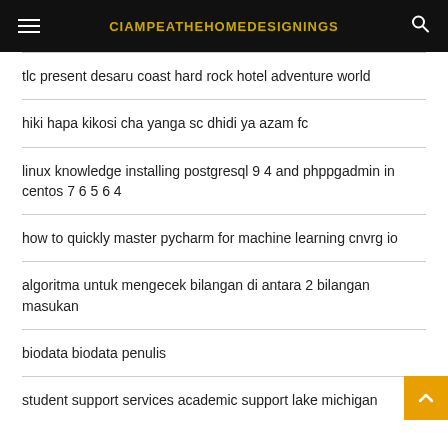CIAMPEATHEHOMEDESIGNINGS
tlc present desaru coast hard rock hotel adventure world
hiki hapa kikosi cha yanga sc dhidi ya azam fc
linux knowledge installing postgresql 9 4 and phppgadmin in centos 7 6 5 6 4
how to quickly master pycharm for machine learning cnvrg io
algoritma untuk mengecek bilangan di antara 2 bilangan masukan
biodata biodata penulis
student support services academic support lake michigan